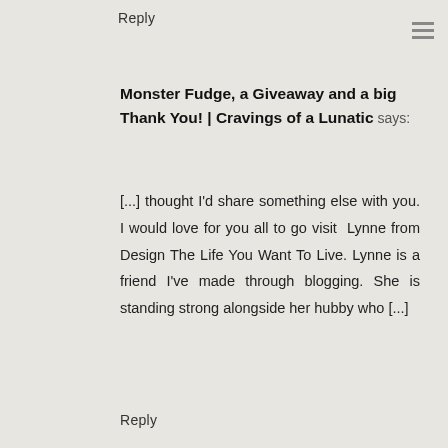Reply
Monster Fudge, a Giveaway and a big Thank You! | Cravings of a Lunatic says:
[...] thought I'd share something else with you. I would love for you all to go visit  Lynne from Design The Life You Want To Live. Lynne is a friend I've made through blogging. She is standing strong alongside her hubby who [...]
Reply